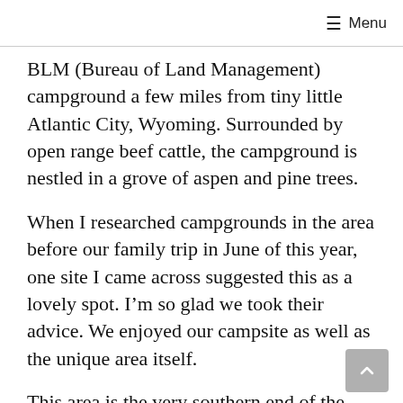☰ Menu
BLM (Bureau of Land Management) campground a few miles from tiny little Atlantic City, Wyoming. Surrounded by open range beef cattle, the campground is nestled in a grove of aspen and pine trees.
When I researched campgrounds in the area before our family trip in June of this year, one site I came across suggested this as a lovely spot. I'm so glad we took their advice. We enjoyed our campsite as well as the unique area itself.
This area is the very southern end of the Wind River Mountains, about a half hour